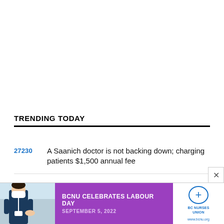TRENDING TODAY
27230  A Saanich doctor is not backing down; charging patients $1,500 annual fee
12014  Man arrested after attempt to defraud car dealership
[Figure (infographic): Advertisement banner for BCNU Celebrates Labour Day, September 5, 2022. Shows a nurse photo on left, purple background with text in center, and BC Nurses Union logo on right.]